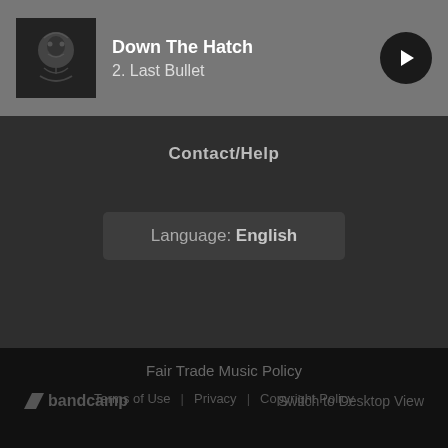Down The Hatch
2. Last Bullet
Contact/Help
Language: English
Fair Trade Music Policy
Terms of Use | Privacy | Copyright Policy
bandcamp   Switch to Desktop View